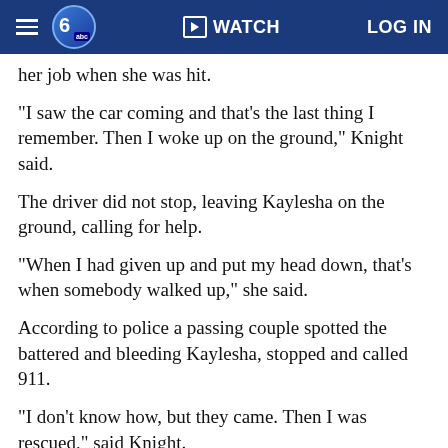WATCH | LOG IN
her job when she was hit.
"I saw the car coming and that's the last thing I remember. Then I woke up on the ground," Knight said.
The driver did not stop, leaving Kaylesha on the ground, calling for help.
"When I had given up and put my head down, that's when somebody walked up," she said.
According to police a passing couple spotted the battered and bleeding Kaylesha, stopped and called 911.
"I don't know how, but they came. Then I was rescued," said Knight.